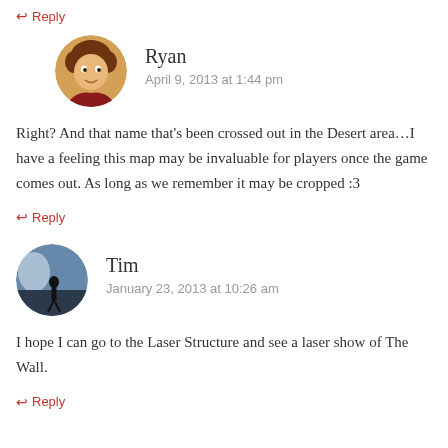↩ Reply
Ryan
April 9, 2013 at 1:44 pm
Right? And that name that's been crossed out in the Desert area…I have a feeling this map may be invaluable for players once the game comes out. As long as we remember it may be cropped :3
↩ Reply
Tim
January 23, 2013 at 10:26 am
I hope I can go to the Laser Structure and see a laser show of The Wall.
↩ Reply